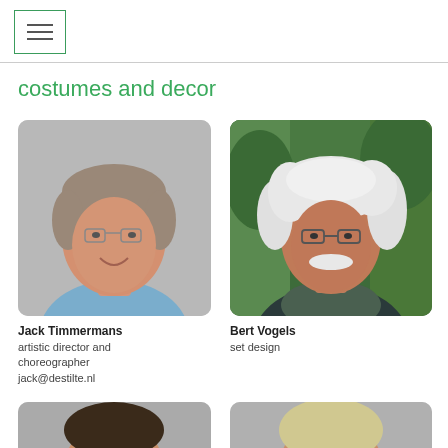costumes and decor
[Figure (photo): Headshot of Jack Timmermans, a middle-aged man with glasses, short grey-brown hair, smiling, wearing a light blue t-shirt, grey background]
Jack Timmermans
artistic director and choreographer
jack@destilte.nl
[Figure (photo): Photo of Bert Vogels, an older man with white hair and mustache, wearing glasses and a dark patterned sweater, standing in front of green trees]
Bert Vogels
set design
[Figure (photo): Partial photo of a person with dark hair, bottom of page, cut off]
[Figure (photo): Partial photo of a person with light/blonde hair, bottom of page, cut off]